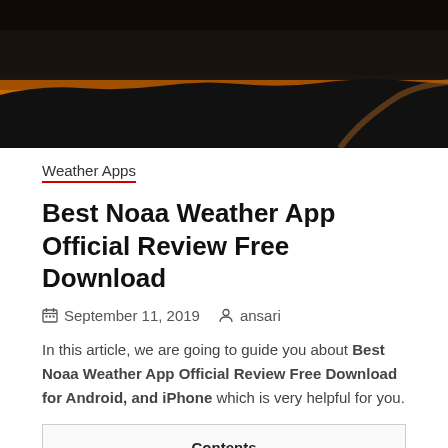[Figure (photo): Night-time landscape photo showing a dark sky with glowing orange/amber horizon line and rolling hills silhouette]
Weather Apps
Best Noaa Weather App Official Review Free Download
September 11, 2019   ansari
In this article, we are going to guide you about Best Noaa Weather App Official Review Free Download for Android, and iPhone which is very helpful for you.
Contents
1 Best NOAA Weather Official App Review Free Download